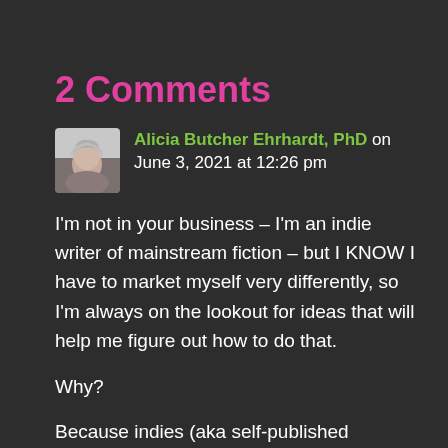2 Comments
Alicia Butcher Ehrhardt, PhD on June 3, 2021 at 12:26 pm
I'm not in your business – I'm an indie writer of mainstream fiction – but I KNOW I have to market myself very differently, so I'm always on the lookout for ideas that will help me figure out how to do that.
Why?
Because indies (aka self-published authors) carry the burden of